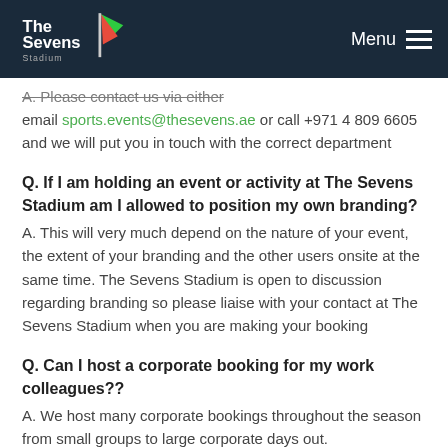The Sevens Stadium — Menu
A. Please contact us via either email sports.events@thesevens.ae or call +971 4 809 6605 and we will put you in touch with the correct department
Q. If I am holding an event or activity at The Sevens Stadium am I allowed to position my own branding?
A. This will very much depend on the nature of your event, the extent of your branding and the other users onsite at the same time. The Sevens Stadium is open to discussion regarding branding so please liaise with your contact at The Sevens Stadium when you are making your booking
Q. Can I host a corporate booking for my work colleagues??
A. We host many corporate bookings throughout the season from small groups to large corporate days out.